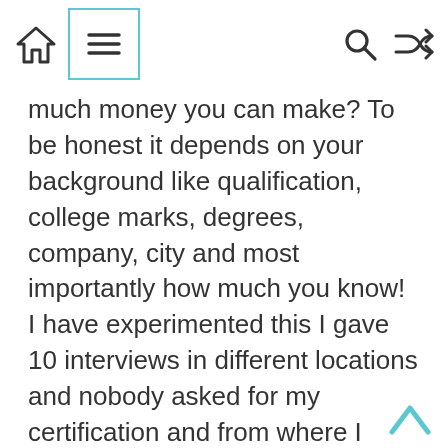[navigation bar with home, menu, search, shuffle icons]
much money you can make? To be honest it depends on your background like qualification, college marks, degrees, company, city and most importantly how much you know! I have experimented this I gave 10 interviews in different locations and nobody asked for my certification and from where I have done my certification! they just asked me how much I know! and that is really amazing. You can have a package of 3lacs to 7lacs depending on the factors I mentioned above, that is not bad! from 10th pass to UG/PG students, there are a lot of job opportunities for Android app developers.